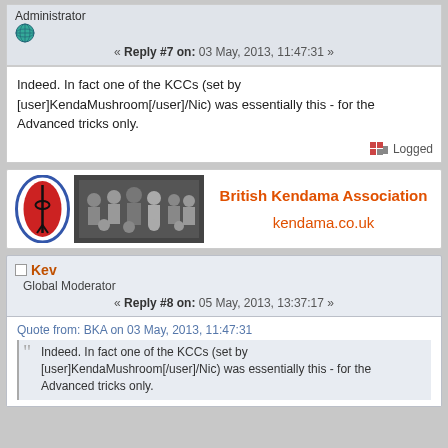Administrator
« Reply #7 on: 03 May, 2013, 11:47:31 »
Indeed. In fact one of the KCCs (set by [user]KendaMushroom[/user]/Nic) was essentially this - for the Advanced tricks only.
Logged
[Figure (logo): British Kendama Association banner with logo, group photo, organisation name and website kendama.co.uk]
Kev
Global Moderator
« Reply #8 on: 05 May, 2013, 13:37:17 »
Quote from: BKA on 03 May, 2013, 11:47:31
Indeed. In fact one of the KCCs (set by [user]KendaMushroom[/user]/Nic) was essentially this - for the Advanced tricks only.